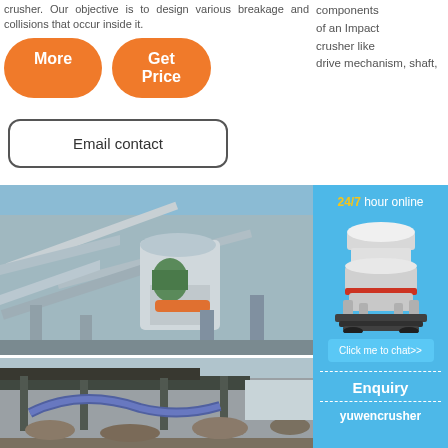crusher. Our objective is to design various breakage and collisions that occur inside it.
components of an Impact crusher like drive mechanism, shaft,
[Figure (screenshot): Orange 'More' button and orange 'Get Price' button]
[Figure (screenshot): Email contact button with border]
[Figure (photo): Industrial crushing/screening equipment in a factory or plant setting]
[Figure (photo): Outdoor industrial construction or demolition site with machinery]
[Figure (infographic): Blue sidebar with '24/7 hour online', cone crusher machine image, 'Click me to chat>>' button, 'Enquiry' text, and 'yuwencrusher' brand name]